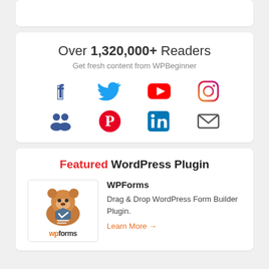[Figure (illustration): Partial white card at top, cut off]
Over 1,320,000+ Readers
Get fresh content from WPBeginner
[Figure (infographic): Social media icons: Facebook, Twitter, YouTube, Instagram, Groups/Friends, Pinterest, LinkedIn, Email]
Featured WordPress Plugin
[Figure (logo): WPForms bear mascot logo with wpforms wordmark]
WPForms
Drag & Drop WordPress Form Builder Plugin.
Learn More →